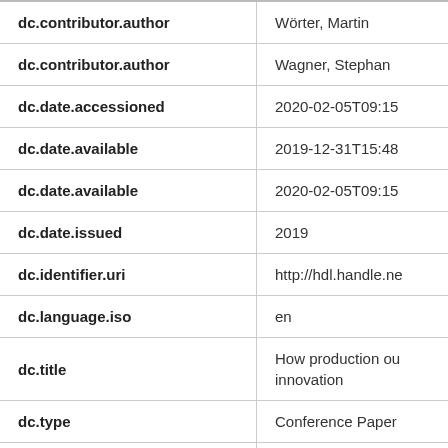| Field | Value |
| --- | --- |
| dc.contributor.author | Wörter, Martin |
| dc.contributor.author | Wagner, Stephan |
| dc.date.accessioned | 2020-02-05T09:15 |
| dc.date.available | 2019-12-31T15:48 |
| dc.date.available | 2020-02-05T09:15 |
| dc.date.issued | 2019 |
| dc.identifier.uri | http://hdl.handle.ne |
| dc.language.iso | en |
| dc.title | How production ou innovation |
| dc.type | Conference Paper |
| ethz.book.title | XXX ISPIM Innova |
| ethz.book.chapter | XXX ISPIM I |